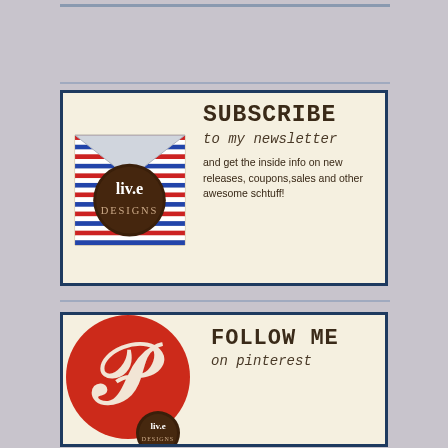[Figure (illustration): Subscribe to newsletter banner with live.Designs logo on an envelope, text: SUBSCRIBE to my newsletter and get the inside info on new releases, coupons, sales and other awesome schtuff!]
[Figure (illustration): Follow Me on Pinterest banner with Pinterest P logo in red circle and live.Designs badge, text: FOLLOW ME on pinterest]